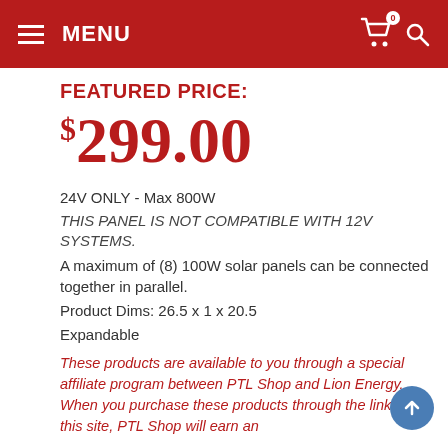MENU
FEATURED PRICE:
$299.00
24V ONLY - Max 800W
THIS PANEL IS NOT COMPATIBLE WITH 12V SYSTEMS.
A maximum of (8) 100W solar panels can be connected together in parallel.
Product Dims: 26.5 x 1 x 20.5
Expandable
These products are available to you through a special affiliate program between PTL Shop and Lion Energy. When you purchase these products through the links on this site, PTL Shop will earn an